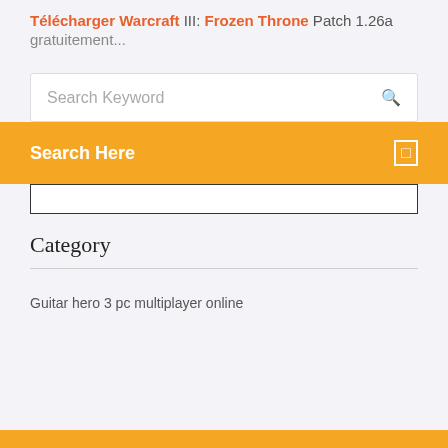Télécharger Warcraft III: Frozen Throne Patch 1.26a gratuitement...
Search Keyword
Search Here
Category
Guitar hero 3 pc multiplayer online